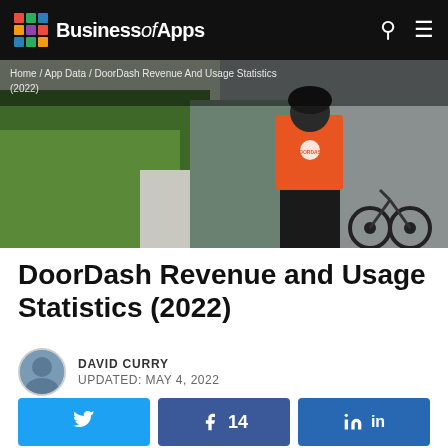BusinessofApps
[Figure (photo): DoorDash delivery person with orange insulated backpack standing next to a bicycle on a sidewalk, with green hedges on the left and road visible on the right. Breadcrumb overlay: Home / App Data / DoorDash Revenue And Usage Statistics (2022)]
DoorDash Revenue and Usage Statistics (2022)
DAVID CURRY
UPDATED: MAY 4, 2022
Twitter share button, Facebook share button with count 14, LinkedIn share button
Content Menu